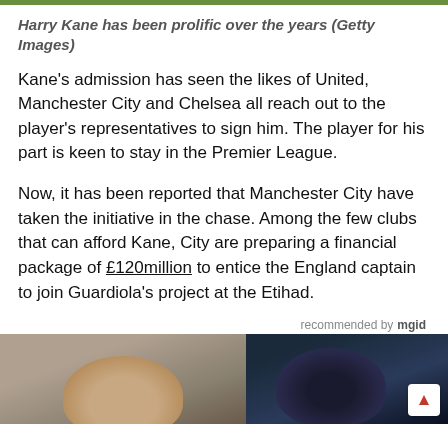Harry Kane has been prolific over the years (Getty Images)
Kane's admission has seen the likes of United, Manchester City and Chelsea all reach out to the player's representatives to sign him. The player for his part is keen to stay in the Premier League.
Now, it has been reported that Manchester City have taken the initiative in the chase. Among the few clubs that can afford Kane, City are preparing a financial package of £120million to entice the England captain to join Guardiola's project at the Etihad.
recommended by mgid
[Figure (photo): Photo strip showing two people's heads/hair, partially visible at the bottom of the page]